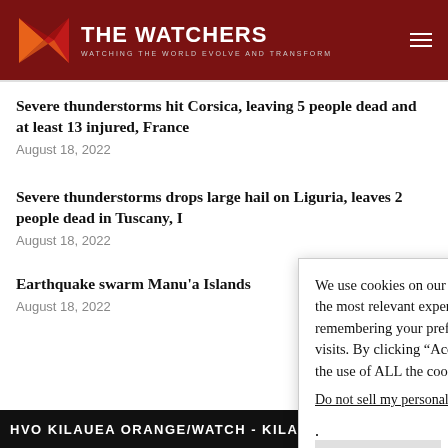THE WATCHERS — WATCHING THE WORLD EVOLVE AND TRANSFORM
Severe thunderstorms hit Corsica, leaving 5 people dead and at least 13 injured, France
August 18, 2022
Severe thunderstorms drops large hail on Liguria, leaves 2 people dead in Tuscany, I
August 18, 2022
Earthquake swarm Manu'a Islands
August 18, 2022
We use cookies on our website to give you the most relevant experience by remembering your preferences and repeat visits. By clicking “Accept”, you consent to the use of ALL the cookies.
Do not sell my personal information.
Cookie settings  Accept
HVO KILAUEA ORANGE/WATCH - KILAUEA VOLCANO IS ERUPT